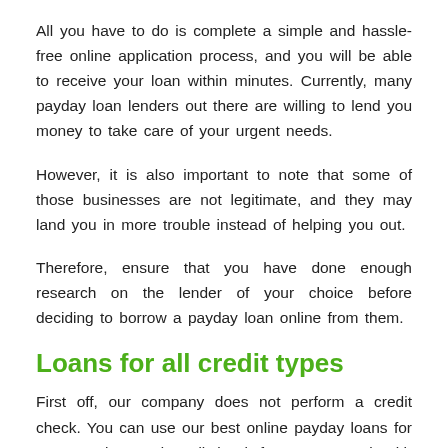All you have to do is complete a simple and hassle-free online application process, and you will be able to receive your loan within minutes. Currently, many payday loan lenders out there are willing to lend you money to take care of your urgent needs.
However, it is also important to note that some of those businesses are not legitimate, and they may land you in more trouble instead of helping you out.
Therefore, ensure that you have done enough research on the lender of your choice before deciding to borrow a payday loan online from them.
Loans for all credit types
First off, our company does not perform a credit check. You can use our best online payday loans for emergencies. Bad credit is ok for us. We work with online loan companies that work with all credit types. So if you need online